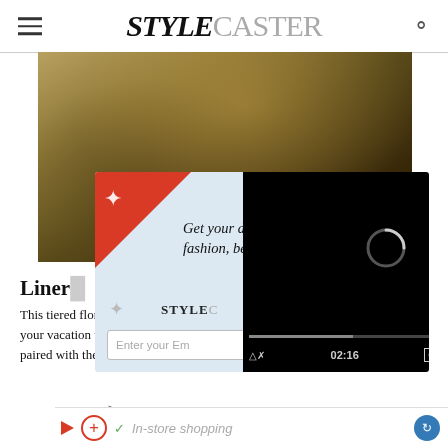STYLECASTER
[Figure (photo): Tiered floral skirt fashion photo, partially visible behind popup overlay]
[Figure (screenshot): Newsletter signup popup overlay with text 'Get your daily dose of fashion, beauty, lifestyle trends' and email input field, with red corner decoration and star icons, overlapping with a black video player loading screen showing 02:16 timestamp and CC controls]
Liner
This tiered floral skirt farmer's market outing, or could be the star piece of your vacation wardrobe. The skirt makes a statement on its own or can be paired with the matching tube top.
-->
[Figure (screenshot): Shopping bar with play button, plus icon, checkmark, 'In-store shopping' text in italic, and share button]